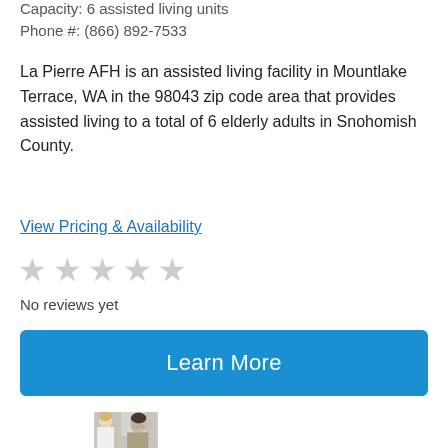Capacity: 6 assisted living units
Phone #: (866) 892-7533
La Pierre AFH is an assisted living facility in Mountlake Terrace, WA in the 98043 zip code area that provides assisted living to a total of 6 elderly adults in Snohomish County.
View Pricing & Availability
No reviews yet
Learn More
[Figure (photo): Two women, one appearing to be a caregiver in white and one an elderly woman with glasses, conversing indoors]